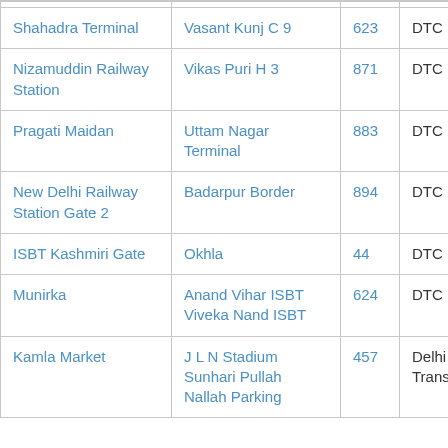| Origin | Destination | Route No. | Operator |
| --- | --- | --- | --- |
| Shahadra Terminal | Vasant Kunj C 9 | 623 | DTC |
| Nizamuddin Railway Station | Vikas Puri H 3 | 871 | DTC |
| Pragati Maidan | Uttam Nagar Terminal | 883 | DTC |
| New Delhi Railway Station Gate 2 | Badarpur Border | 894 | DTC |
| ISBT Kashmiri Gate | Okhla | 44 | DTC |
| Munirka | Anand Vihar ISBT
Viveka Nand ISBT | 624 | DTC |
| Kamla Market | J L N Stadium
Sunhari Pullah
Nallah Parking | 457 | Delhi Transit |